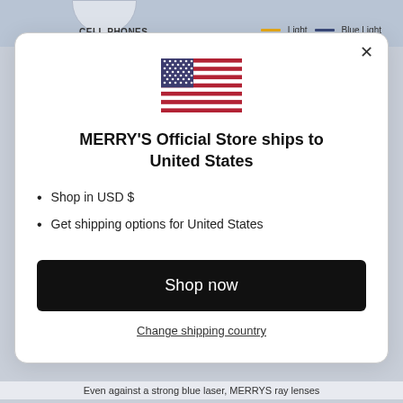[Figure (screenshot): Background of a website with 'CELL PHONES' navigation label and Light/Blue Light legend with colored lines]
[Figure (illustration): United States flag SVG illustration]
MERRY'S Official Store ships to United States
Shop in USD $
Get shipping options for United States
Shop now
Change shipping country
Even against a strong blue laser, MERRYS ray lenses